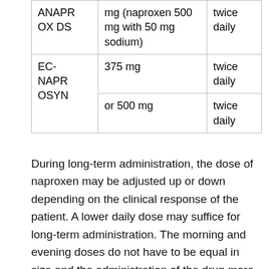| Drug | Dose | Frequency |
| --- | --- | --- |
| ANAPROX DS | mg (naproxen 500 mg with 50 mg sodium) | twice daily |
| EC-NAPROSYN | 375 mg | twice daily |
| EC-NAPROSYN | or 500 mg | twice daily |
During long-term administration, the dose of naproxen may be adjusted up or down depending on the clinical response of the patient. A lower daily dose may suffice for long-term administration. The morning and evening doses do not have to be equal in size and the administration of the drug more frequently than twice daily is not necessary.